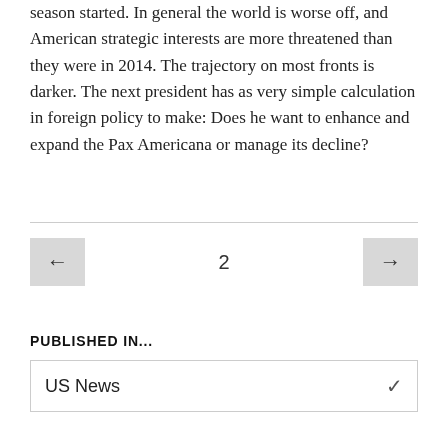season started. In general the world is worse off, and American strategic interests are more threatened than they were in 2014. The trajectory on most fronts is darker. The next president has as very simple calculation in foreign policy to make: Does he want to enhance and expand the Pax Americana or manage its decline?
← 2 →
PUBLISHED IN...
US News